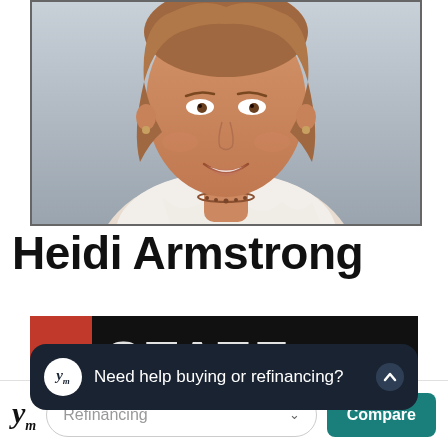[Figure (photo): Headshot photo of Heidi Armstrong, a woman smiling, wearing a white ruffled blouse and necklace, against a grey background, shown from shoulders up]
Heidi Armstrong
[Figure (logo): State Farm insurance logo banner — red rectangle on left, white bold text reading STATE on dark background]
Need help buying or refinancing?
Refinancing
Compare